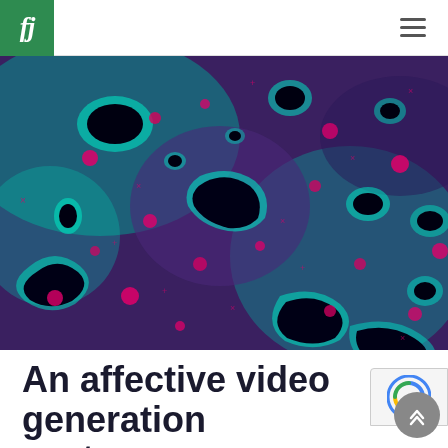fj [logo] | ≡ [menu]
[Figure (illustration): Abstract microscopic-style image with dark teal/purple background featuring black irregular blob shapes with cyan/teal glowing outlines and scattered magenta/pink spots and small cross symbols throughout]
An affective video generation system supporting impromptu